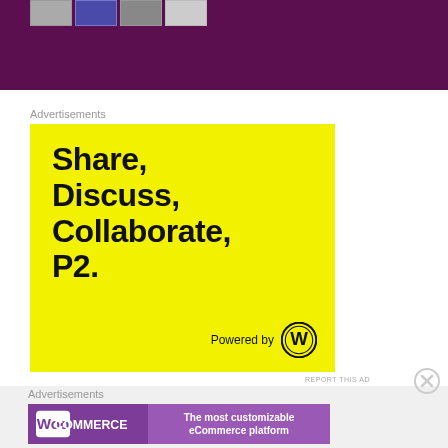[Figure (screenshot): Dark purple header banner with small thumbnail images at the top]
Advertisements
[Figure (illustration): Yellow advertisement box with bold black text: Share, Discuss, Collaborate, P2. Powered by WordPress logo at bottom right.]
REPORT THIS AD
Advertisements
[Figure (illustration): WooCommerce advertisement banner: WooCommerce logo on purple left panel, white text on right: The most customizable eCommerce platform]